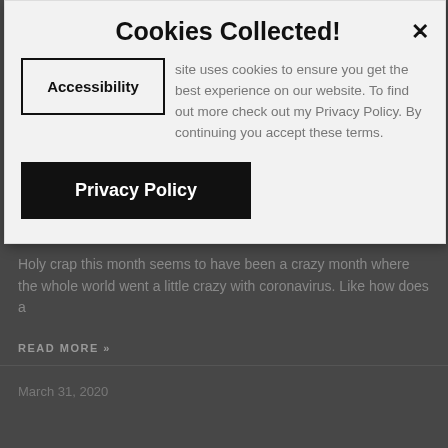[Figure (screenshot): Cookie consent modal dialog overlaying a blog page. Modal has title 'Cookies Collected!', an Accessibility button, cookie policy text, and a Privacy Policy button. Background shows a dark-themed blog with article text about coronavirus and a READ MORE link, plus a March 31, 2020 date.]
Cookies Collected!
site uses cookies to ensure you get the best experience on our website. To find out more check out my Privacy Policy. By continuing you accept these terms.
Holy crap this month seems to have been a crazy month where the whole world went a little crazy with coronavirus. Like how does a
READ MORE »
March 31, 2020